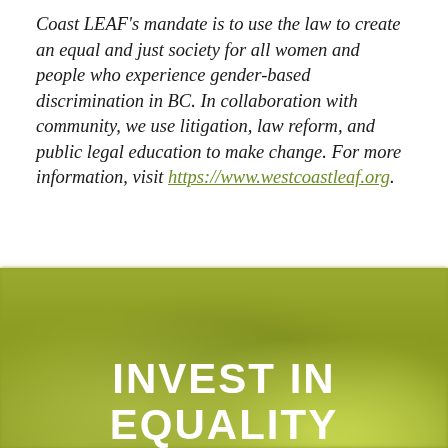Coast LEAF's mandate is to use the law to create an equal and just society for all women and people who experience gender-based discrimination in BC. In collaboration with community, we use litigation, law reform, and public legal education to make change. For more information, visit https://www.westcoastleaf.org.
[Figure (photo): Blurred green grass background with white bold text overlay reading INVEST IN EQUALITY]
INVEST IN EQUALITY